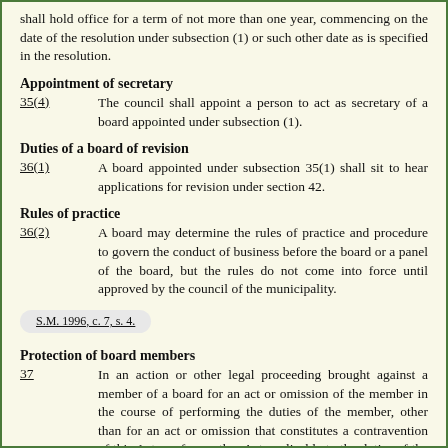shall hold office for a term of not more than one year, commencing on the date of the resolution under subsection (1) or such other date as is specified in the resolution.
Appointment of secretary
35(4)    The council shall appoint a person to act as secretary of a board appointed under subsection (1).
Duties of a board of revision
36(1)    A board appointed under subsection 35(1) shall sit to hear applications for revision under section 42.
Rules of practice
36(2)    A board may determine the rules of practice and procedure to govern the conduct of business before the board or a panel of the board, but the rules do not come into force until approved by the council of the municipality.
S.M. 1996, c. 7, s. 4.
Protection of board members
37    In an action or other legal proceeding brought against a member of a board for an act or omission of the member in the course of performing the duties of the member, other than for an act or omission that constitutes a contravention of this Act or of any other Act applicable to the duties of the member, the member has the protection and privileges of a judge of the Court of Queen's Bench.